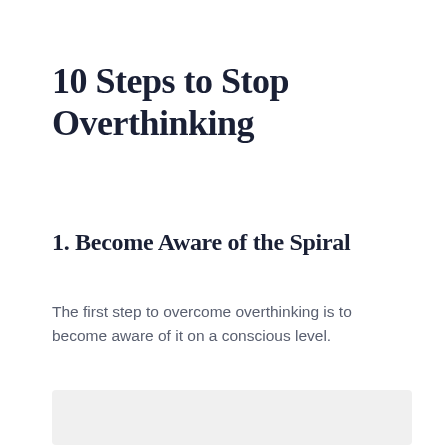10 Steps to Stop Overthinking
1. Become Aware of the Spiral
The first step to overcome overthinking is to become aware of it on a conscious level.
[Figure (other): Partially visible image at bottom of page]